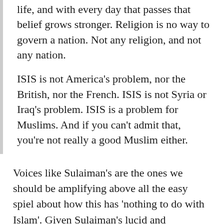life, and with every day that passes that belief grows stronger. Religion is no way to govern a nation. Not any religion, and not any nation.
ISIS is not America's problem, nor the British, nor the French. ISIS is not Syria or Iraq's problem. ISIS is a problem for Muslims. And if you can't admit that, you're not really a good Muslim either.
#LibertyFraternityEquality
#LongLiveTheRepublic
Voices like Sulaiman's are the ones we should be amplifying above all the easy spiel about how this has 'nothing to do with Islam'. Given Sulaiman's lucid and thoughtful response currently has over 34,000 'shares'